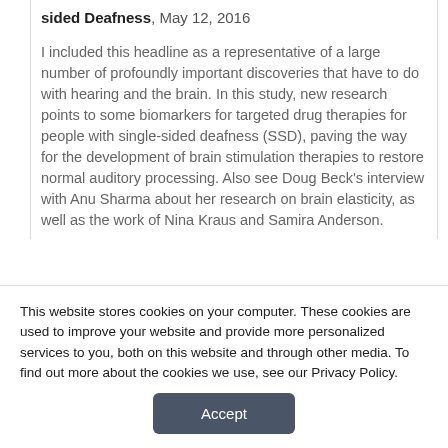sided Deafness, May 12, 2016
I included this headline as a representative of a large number of profoundly important discoveries that have to do with hearing and the brain. In this study, new research points to some biomarkers for targeted drug therapies for people with single-sided deafness (SSD), paving the way for the development of brain stimulation therapies to restore normal auditory processing. Also see Doug Beck's interview with Anu Sharma about her research on brain elasticity, as well as the work of Nina Kraus and Samira Anderson.
This website stores cookies on your computer. These cookies are used to improve your website and provide more personalized services to you, both on this website and through other media. To find out more about the cookies we use, see our Privacy Policy.